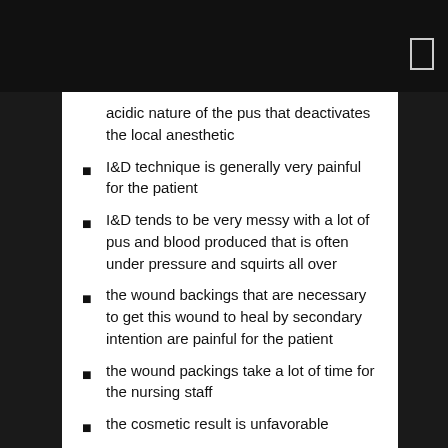acidic nature of the pus that deactivates the local anesthetic
I&D technique is generally very painful for the patient
I&D tends to be very messy with a lot of pus and blood produced that is often under pressure and squirts all over
the wound backings that are necessary to get this wound to heal by secondary intention are painful for the patient
the wound packings take a lot of time for the nursing staff
the cosmetic result is unfavorable
the total treatment time to get a wound to heal by secondary intention is often two weeks or more
The new technique of seton placement was designed to address many of these shortcomings. The technique is described below: